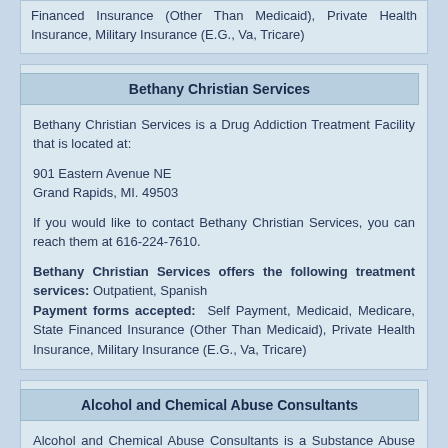Financed Insurance (Other Than Medicaid), Private Health Insurance, Military Insurance (E.G., Va, Tricare)
Bethany Christian Services
Bethany Christian Services is a Drug Addiction Treatment Facility that is located at:

901 Eastern Avenue NE
Grand Rapids, MI. 49503

If you would like to contact Bethany Christian Services, you can reach them at 616-224-7610.

Bethany Christian Services offers the following treatment services: Outpatient, Spanish
Payment forms accepted: Self Payment, Medicaid, Medicare, State Financed Insurance (Other Than Medicaid), Private Health Insurance, Military Insurance (E.G., Va, Tricare)
Alcohol and Chemical Abuse Consultants
Alcohol and Chemical Abuse Consultants is a Substance Abuse Program that is located at: